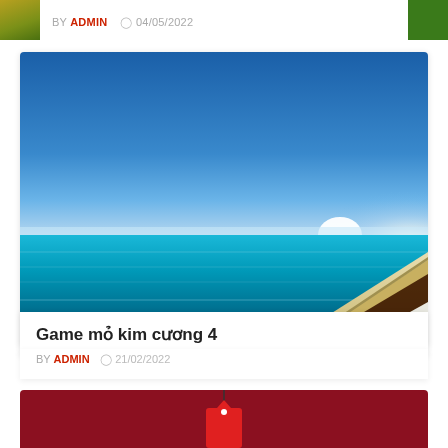BY ADMIN  04/05/2022
[Figure (photo): Beach scene with blue sky, turquoise ocean water, and a wooden boat in the lower right corner resting on sandy beach. White sun glare on the horizon right side.]
Game mỏ kim cương 4
BY ADMIN  21/02/2022
[Figure (photo): Dark red/crimson background with a red price tag hanging from a string, partially visible at bottom of page.]